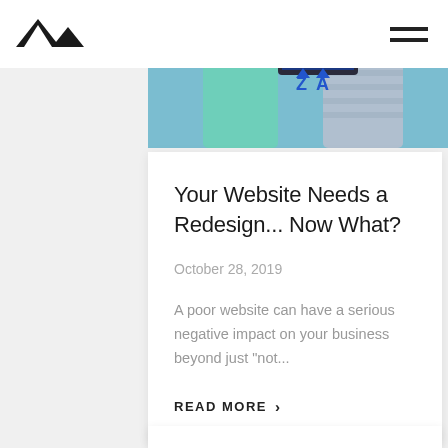[Figure (logo): Black angular mountain/triangle logo mark]
[Figure (photo): Two people working at computers with code on screens, viewed from behind]
Your Website Needs a Redesign... Now What?
October 28, 2019
A poor website can have a serious negative impact on your business beyond just "not...
READ MORE >